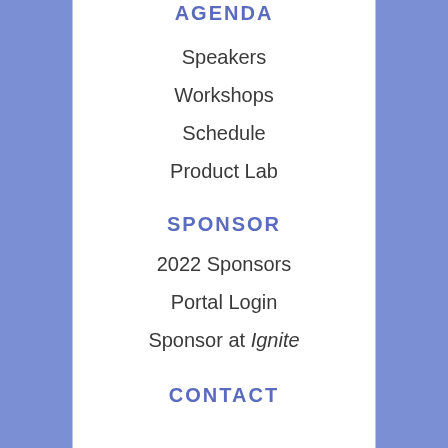AGENDA
Speakers
Workshops
Schedule
Product Lab
SPONSOR
2022 Sponsors
Portal Login
Sponsor at Ignite
CONTACT